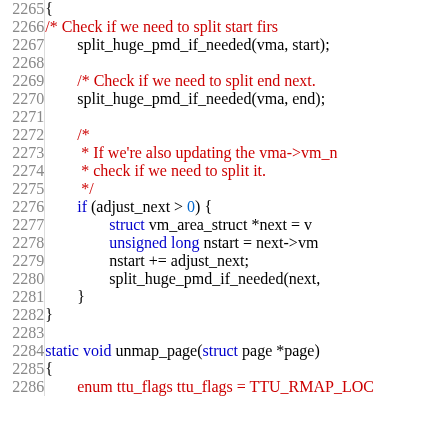[Figure (screenshot): Source code listing showing C code lines 2265-2285+, with line numbers on the left and syntax-highlighted code on the right. Comments in red, keywords in blue, plain code in black on white background.]